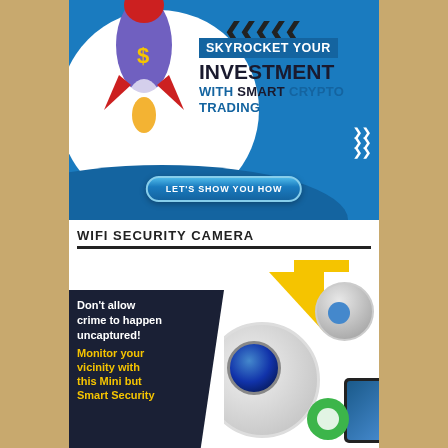[Figure (infographic): Crypto investment banner with rocket illustration, blue background, text 'SKYROCKET YOUR INVESTMENT WITH SMART CRYPTO TRADING' and a 'LET'S SHOW YOU HOW' button]
WIFI SECURITY CAMERA
[Figure (infographic): WiFi security camera product advertisement with dark background, yellow geometric shapes, camera images, smartphone image, and text 'Don't allow crime to happen uncaptured! Monitor your vicinity with this Mini but Smart Security']